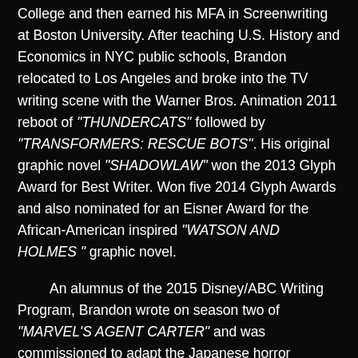College and then earned his MFA in Screenwriting at Boston University. After teaching U.S. History and Economics in NYC public schools, Brandon relocated to Los Angeles and broke into the TV writing scene with the Warner Bros. Animation 2011 reboot of "THUNDERCATS" followed by "TRANSFORMERS: RESCUE BOTS". His original graphic novel "SHADOWLAW" won the 2013 Glyph Award for Best Writer. Won five 2014 Glyph Awards and also nominated for an Eisner Award for the African-American inspired "WATSON AND HOLMES" graphic novel.
An alumnus of the 2015 Disney/ABC Writing Program, Brandon wrote on season two of "MARVEL'S AGENT CARTER" and was commissioned to adapt the Japanese horror franchise "VAMPIRE HUNTER D" into a TV series. He has written on a variety of recently released and upcoming graphic novels including "JUDGE DREDD: FALSE WITNESS", "MARVEL ACTION SPIDER-MAN", "TRANSFORMERS: GALAXIES" as well as the hit Netflix TV series "TRANSFORMERS – WAR FOR CYBERTRON: SIEGE". Brandon is currently the writer of